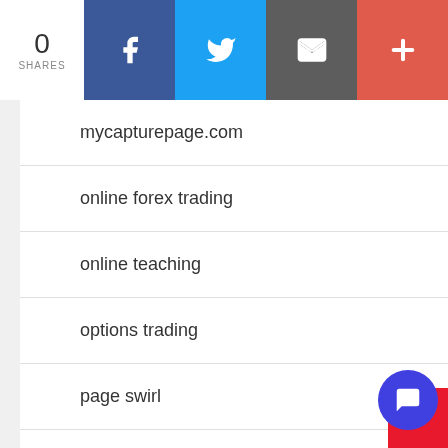[Figure (infographic): Social share bar showing 0 shares, with Facebook, Twitter, Email, and More (+) buttons]
mycapturepage.com
online forex trading
online teaching
options trading
page swirl
palladium
Paul Schlegel